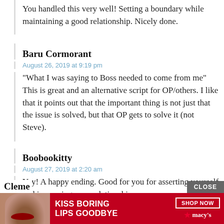You handled this very well! Setting a boundary while maintaining a good relationship. Nicely done.
Baru Cormorant
August 26, 2019 at 9:19 pm
“What I was saying to Boss needed to come from me” This is great and an alternative script for OP/others. I like that it points out that the important thing is not just that the issue is solved, but that OP gets to solve it (not Steve).
Boobookitty
August 27, 2019 at 2:20 am
Yay! A happy ending. Good for you for asserting yourself and improving your relationship.
[Figure (screenshot): Advertisement banner: KISS BORING LIPS GOODBYE with SHOP NOW and macy's logo, with CLOSE button]
Cleme...